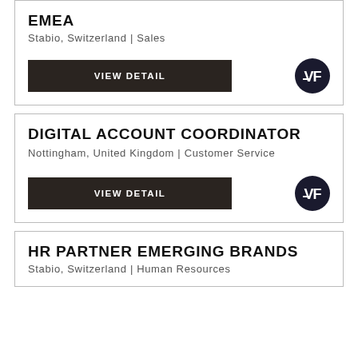EMEA
Stabio, Switzerland | Sales
DIGITAL ACCOUNT COORDINATOR
Nottingham, United Kingdom | Customer Service
HR PARTNER EMERGING BRANDS
Stabio, Switzerland | Human Resources